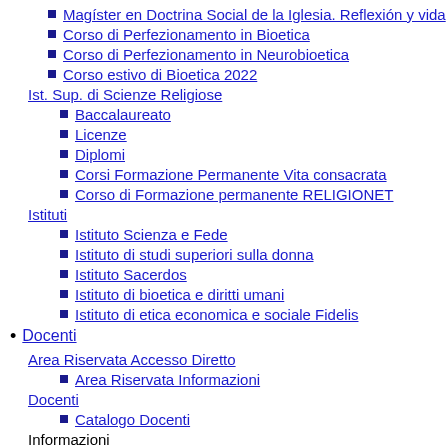Magíster en Doctrina Social de la Iglesia. Reflexión y vida
Corso di Perfezionamento in Bioetica
Corso di Perfezionamento in Neurobioetica
Corso estivo di Bioetica 2022
Ist. Sup. di Scienze Religiose
Baccalaureato
Licenze
Diplomi
Corsi Formazione Permanente Vita consacrata
Corso di Formazione permanente RELIGIONET
Istituti
Istituto Scienza e Fede
Istituto di studi superiori sulla donna
Istituto Sacerdos
Istituto di bioetica e diritti umani
Istituto di etica economica e sociale Fidelis
Docenti
Area Riservata Accesso Diretto
Area Riservata Informazioni
Docenti
Catalogo Docenti
Informazioni
Piattaforme Digitali